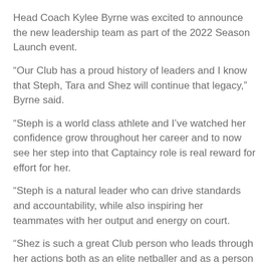Head Coach Kylee Byrne was excited to announce the new leadership team as part of the 2022 Season Launch event.
“Our Club has a proud history of leaders and I know that Steph, Tara and Shez will continue that legacy,” Byrne said.
“Steph is a world class athlete and I’ve watched her confidence grow throughout her career and to now see her step into that Captaincy role is real reward for effort for her.
“Steph is a natural leader who can drive standards and accountability, while also inspiring her teammates with her output and energy on court.
“Shez is such a great Club person who leads through her actions both as an elite netballer and as a person – so to gain the official title of Vice Captain off the back of her peers’ recommendations is really special.